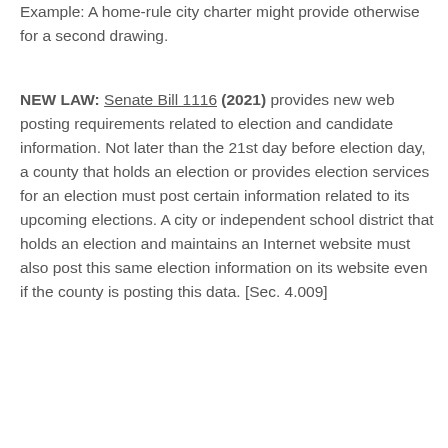Example: A home-rule city charter might provide otherwise for a second drawing.
NEW LAW: Senate Bill 1116 (2021) provides new web posting requirements related to election and candidate information. Not later than the 21st day before election day, a county that holds an election or provides election services for an election must post certain information related to its upcoming elections. A city or independent school district that holds an election and maintains an Internet website must also post this same election information on its website even if the county is posting this data. [Sec. 4.009]